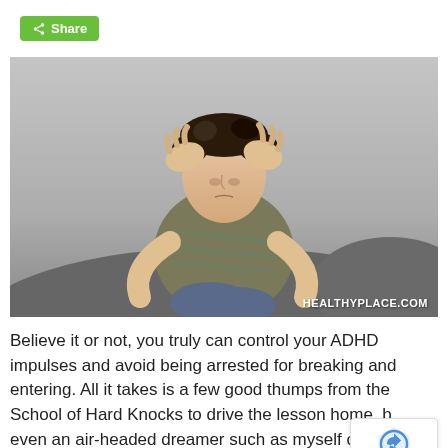[Figure (other): Share button with green background and share icon]
[Figure (photo): Young man sitting on rocks outdoors with both hands on his head, looking stressed or frustrated. Black and white background with the subject in color. Watermark reads HEALTHYPLACE.COM in bottom right corner.]
Believe it or not, you truly can control your ADHD impulses and avoid being arrested for breaking and entering. All it takes is a few good thumps from the School of Hard Knocks to drive the lesson home, but even an air-headed dreamer such as myself can learn to avoid catastrophic lapses of impulse control.